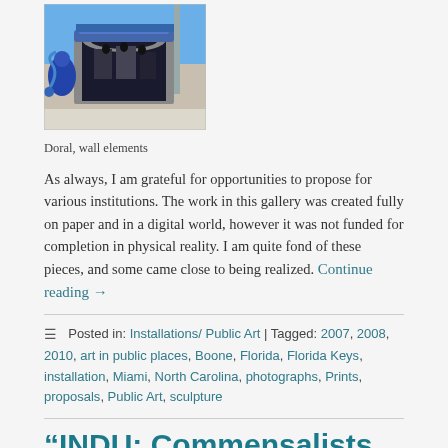[Figure (photo): Outdoor mural/wall art installation showing decorative archway with painted figures and blue sky background, at Doral]
Doral, wall elements
As always, I am grateful for opportunities to propose for various institutions. The work in this gallery was created fully on paper and in a digital world, however it was not funded for completion in physical reality. I am quite fond of these pieces, and some came close to being realized. Continue reading →
Posted in: Installations/ Public Art | Tagged: 2007, 2008, 2010, art in public places, Boone, Florida, Florida Keys, installation, Miami, North Carolina, photographs, Prints, proposals, Public Art, sculpture
"INDU: Commensalists and Hand Me Downs"